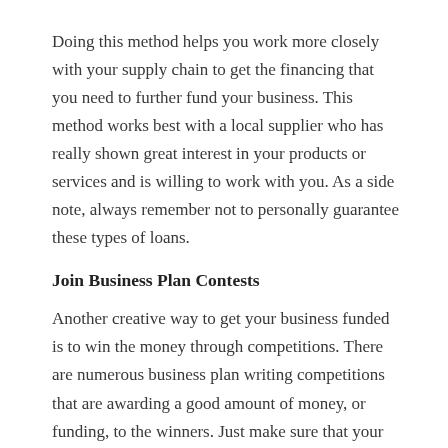Doing this method helps you work more closely with your supply chain to get the financing that you need to further fund your business. This method works best with a local supplier who has really shown great interest in your products or services and is willing to work with you. As a side note, always remember not to personally guarantee these types of loans.
Join Business Plan Contests
Another creative way to get your business funded is to win the money through competitions. There are numerous business plan writing competitions that are awarding a good amount of money, or funding, to the winners. Just make sure that your business writing and presentation skills are tip-top because you will be competing with the best in the country.
Find Organizations that are 'Business Incubators'